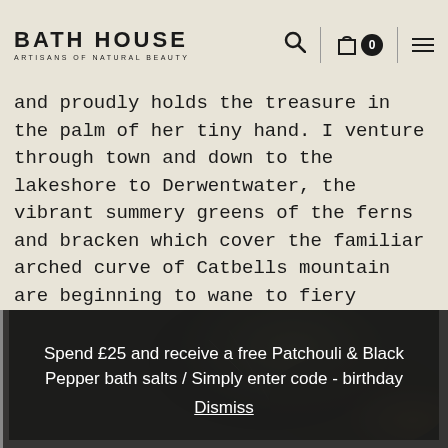BATH HOUSE / ARTISANS OF NATURAL BEAUTY
and proudly holds the treasure in the palm of her tiny hand. I venture through town and down to the lakeshore to Derwentwater, the vibrant summery greens of the ferns and bracken which cover the familiar arched curve of Catbells mountain are beginning to wane to fiery tones."
[Figure (photo): Dark close-up photograph with dark green and brown tones, likely a nature scene related to the article content.]
Spend £25 and receive a free Patchouli & Black Pepper bath salts / Simply enter code - birthday Dismiss